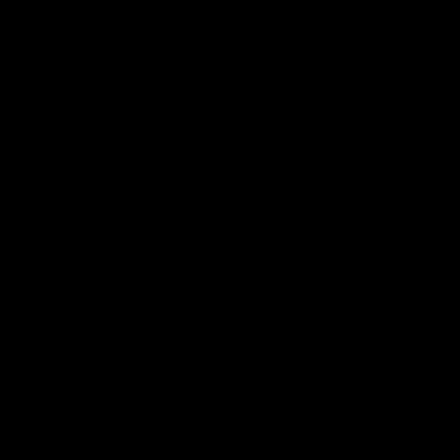[Figure (screenshot): Black terminal/console output showing compiler command flags and build paths in white monospace text. The left portion of the page is white (blank), and the right portion shows the continuation of a long compiler invocation including flags like -Ibuild/linux, -fPIC, -fno-strict-alias, -pthread, -Wall, -Wsign-compare, -Winvalid-pch, -fno-builtin-memcmp, -O2, -Wformat, -Werror=format, -dwarf-4, -fno-debug-types-section, -tracking-assignments, -g2, -D_FORTIFY_SOURCE=2, -fstack-protector, --param=ssp-buffer-size=4, -fomit-frame-pointer, -march=i486, -fasynchronous, -gdwarf-4, -fno-debug, and other build options for a MongoDB build on Linux i486-pld-linux-g++.]